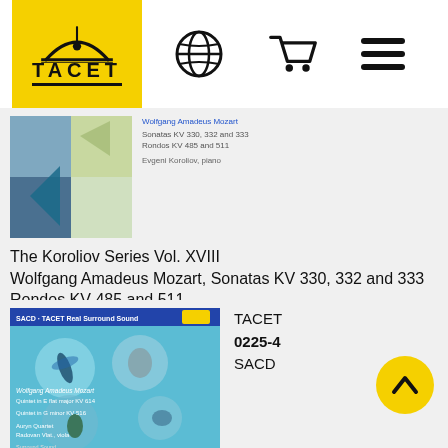[Figure (logo): TACET music label logo on yellow background with globe icon, shopping cart icon, and hamburger menu icon]
[Figure (photo): Album cover for The Koroliov Series Vol. XVIII - colorful abstract geometric design]
The Koroliov Series Vol. XVIII
Wolfgang Amadeus Mozart, Sonatas KV 330, 332 and 333
Rondos KV 485 and 511
Evgeni Koroliov, piano
[Figure (illustration): Klassik Heute Empfehlung circular badge and Klassik Heute 10 red banner]
[Figure (photo): Album cover for The Auryn Series - teal background with insects/dragonflies in bubbles, SACD TACET Real Surround Sound banner]
TACET
0225-4
SACD
The Auryn Series
Wolfgang Amadeus Mozart
Quintet in E flat major KV 614